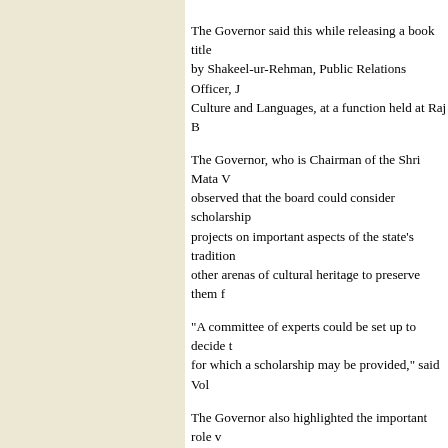The Governor said this while releasing a book title by Shakeel-ur-Rehman, Public Relations Officer, J Culture and Languages, at a function held at Raj B
The Governor, who is Chairman of the Shri Mata V observed that the board could consider scholarship projects on important aspects of the state's tradition other arenas of cultural heritage to preserve them f
"A committee of experts could be set up to decide t for which a scholarship may be provided," said Vol
The Governor also highlighted the important role v print media, can play in effectively showcasing the regions through publication of well researched arti
Omar, Farooq greet p
Tribun
Srinagar, October 23
Chief Minister Omar Abdullah and Union Renewa people on the occasions of Urs of a Sufi saint Mir S
“Chief Minister greeted people on the occasion of